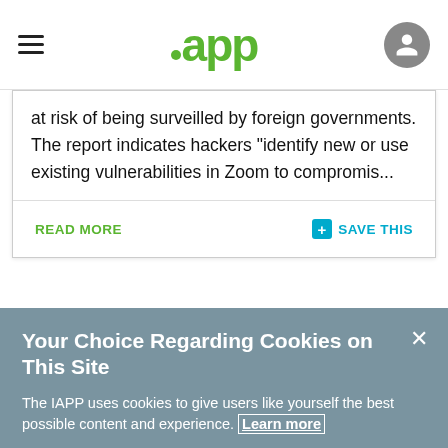iapp
at risk of being surveilled by foreign governments. The report indicates hackers "identify new or use existing vulnerabilities in Zoom to compromis...
READ MORE
SAVE THIS
Your Choice Regarding Cookies on This Site
The IAPP uses cookies to give users like yourself the best possible content and experience. Learn more
Manage Cookies
Accept